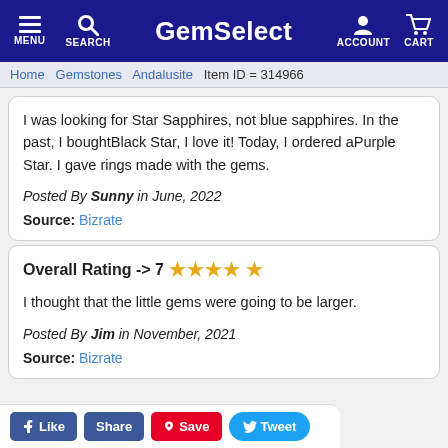GemSelect — MENU | SEARCH | ACCOUNT | CART
Home  Gemstones  Andalusite  Item ID = 314966
I was looking for Star Sapphires, not blue sapphires. In the past, I boughtBlack Star, I love it! Today, I ordered aPurple Star. I gave rings made with the gems.
Posted By Sunny in June, 2022
Source: Bizrate
Overall Rating -> 7 ★★★★☆
I thought that the little gems were going to be larger.
Posted By Jim in November, 2021
Source: Bizrate